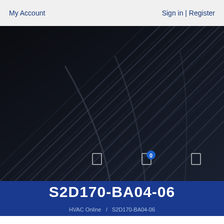My Account    Sign in | Register
[Figure (photo): Dark close-up photograph of HVAC coil fins or wire mesh with a shopping cart icon showing 0 items in the navigation overlay]
S2D170-BA04-06
HVAC Online  /  S2D170-BA04-06